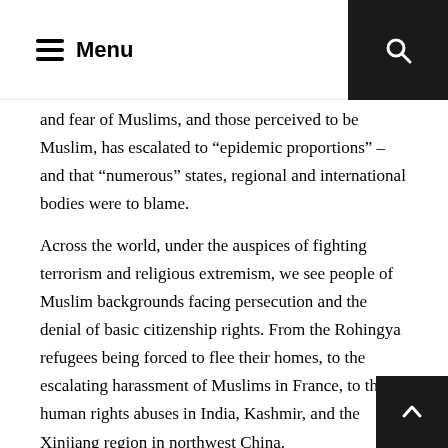Menu
and fear of Muslims, and those perceived to be Muslim, has escalated to “epidemic proportions” – and that “numerous” states, regional and international bodies were to blame.
Across the world, under the auspices of fighting terrorism and religious extremism, we see people of Muslim backgrounds facing persecution and the denial of basic citizenship rights. From the Rohingya refugees being forced to flee their homes, to the escalating harassment of Muslims in France, to the human rights abuses in India, Kashmir, and the Xinjiang region in northwest China.
The evidence is very clear: Islamophobia is on the rise.
And yet we still have a Government that not only fails to